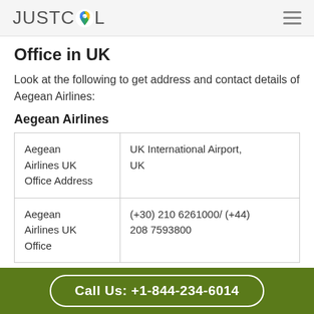JUSTCOL
Office in UK
Look at the following to get address and contact details of Aegean Airlines:
Aegean Airlines
| Aegean Airlines UK Office Address | UK International Airport, UK |
| Aegean Airlines UK Office | (+30) 210 6261000/ (+44) 208 7593800 |
Call Us: +1-844-234-6014